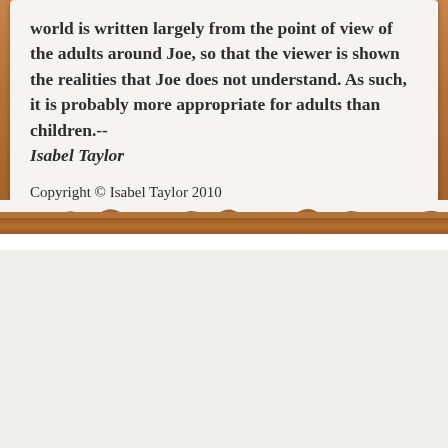world is written largely from the point of view of the adults around Joe, so that the viewer is shown the realities that Joe does not understand. As such, it is probably more appropriate for adults than children.-- Isabel Taylor
Copyright © Isabel Taylor 2010